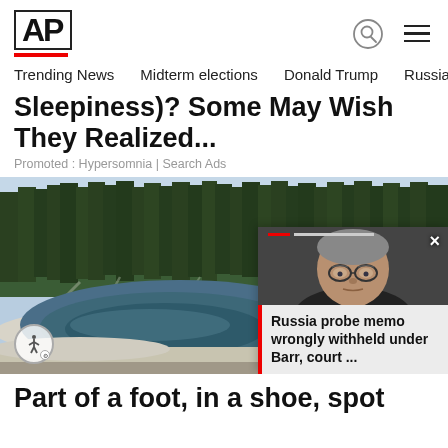[Figure (logo): AP (Associated Press) logo with red underbar, search icon, and hamburger menu icon]
Trending News   Midterm elections   Donald Trump   Russia-Ukr
Sleepiness)? Some May Wish They Realized...
Promoted : Hypersomnia | Search Ads
[Figure (photo): Outdoor landscape photo showing a hot spring or thermal pool with blue-green water, white mineral deposits on the shore, fallen dead trees, and a dense evergreen forest in the background. An accessibility icon button is overlaid in the bottom left. A floating news card overlay appears in the bottom right corner showing a man with glasses (William Barr) with a red accent bar and close button.]
Part of a foot, in a shoe, spot